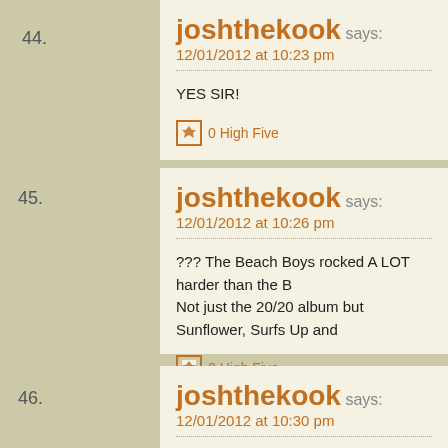44. joshthekook says: 12/01/2012 at 10:23 pm — YES SIR! — 0 High Five
45. joshthekook says: 12/01/2012 at 10:26 pm — ??? The Beach Boys rocked A LOT harder than the B Not just the 20/20 album but Sunflower, Surfs Up and — 0 High Five
46. joshthekook says: 12/01/2012 at 10:30 pm — Well "2000 Man" with all due respect either you're ign